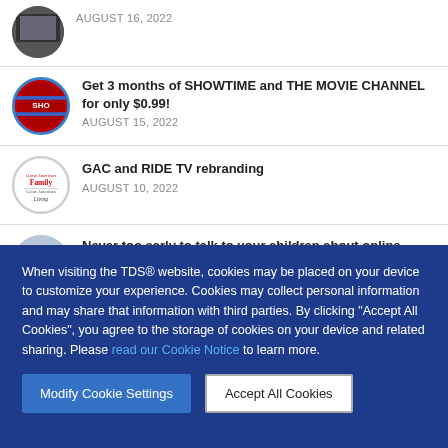AUGUST 16, 2022
Get 3 months of SHOWTIME and THE MOVIE CHANNEL for only $0.99!
AUGUST 15, 2022
GAC and RIDE TV rebranding
AUGUST 10, 2022
Never too early to talk to your children about online safety
AUGUST 10, 2022
When visiting the TDS® website, cookies may be placed on your device to customize your experience. Cookies may collect personal information and may share that information with third parties. By clicking “Accept All Cookies”, you agree to the storage of cookies on your device and related sharing. Please read our Cookie Notice to learn more.